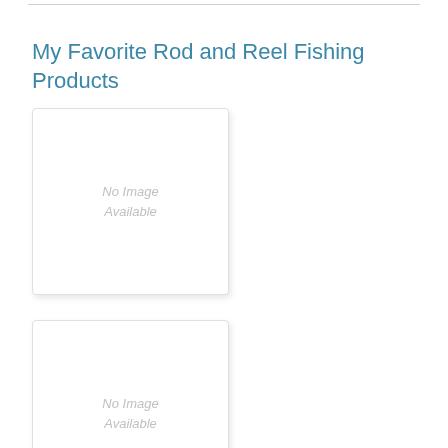My Favorite Rod and Reel Fishing Products
[Figure (other): No Image Available placeholder box 1]
[Figure (other): No Image Available placeholder box 2]
[Figure (other): No Image Available placeholder box 3 (partial)]